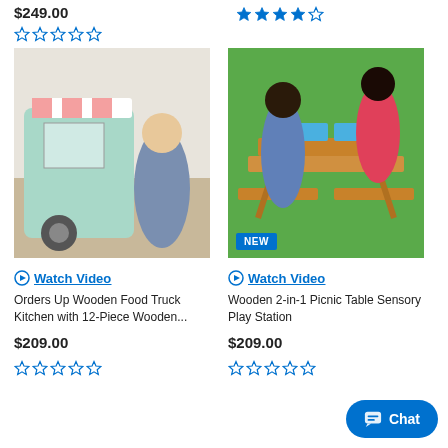$249.00
☆ ☆ ☆ ☆ ☆ (0 stars, right column top)
★ ★ ★ ★ ☆ (4 stars, right column top)
[Figure (photo): Two children playing with a mint-green wooden food truck kitchen toy indoors]
Watch Video
Orders Up Wooden Food Truck Kitchen with 12-Piece Wooden...
$209.00
☆ ☆ ☆ ☆ ☆
[Figure (photo): Two children playing at a wooden picnic table with sensory play bins on grass, NEW badge visible]
Watch Video
Wooden 2-in-1 Picnic Table Sensory Play Station
$209.00
☆ ☆ ☆ ☆ ☆
Chat